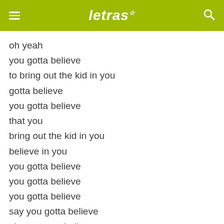letras
oh yeah
you gotta believe
to bring out the kid in you
gotta believe
you gotta believe
that you
bring out the kid in you
believe in you
you gotta believe
you gotta believe
you gotta believe
say you gotta believe
oh you gotta believe